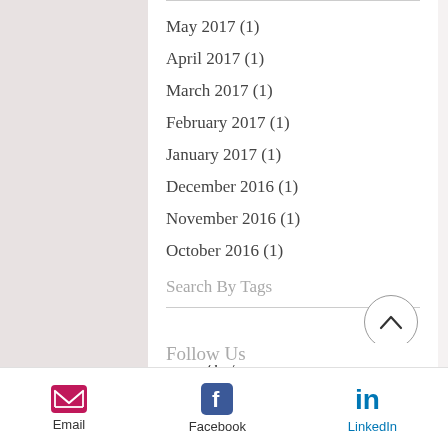May 2017 (1)
April 2017 (1)
March 2017 (1)
February 2017 (1)
January 2017 (1)
December 2016 (1)
November 2016 (1)
October 2016 (1)
Search By Tags
No tags yet.
Follow Us
Email  Facebook  LinkedIn